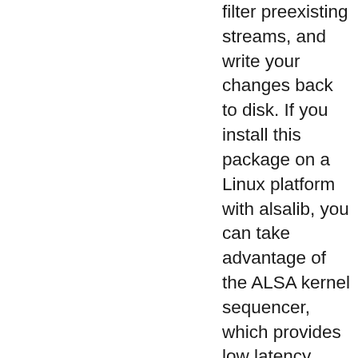filter preexisting streams, and write your changes back to disk. If you install this package on a Linux platform with alsalib, you can take advantage of the ALSA kernel sequencer, which provides low latency scheduling and receiving of MIDI events. SWIG is required to compile the ALSA extension sequencer extension. Although OS-X and Windows provide similar sequencer facilities, the current